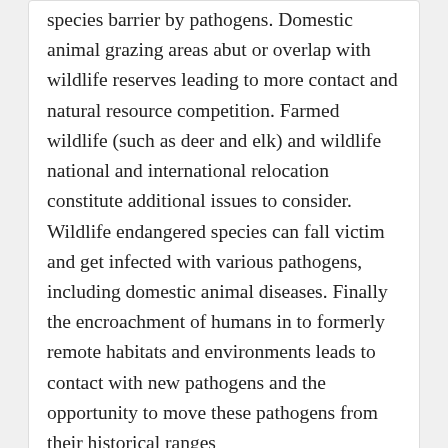species barrier by pathogens. Domestic animal grazing areas abut or overlap with wildlife reserves leading to more contact and natural resource competition. Farmed wildlife (such as deer and elk) and wildlife national and international relocation constitute additional issues to consider. Wildlife endangered species can fall victim and get infected with various pathogens, including domestic animal diseases. Finally the encroachment of humans in to formerly remote habitats and environments leads to contact with new pathogens and the opportunity to move these pathogens from their historical ranges
This entry was posted in Tigithi (KENYA) by benitomaina. Bookmark the permalink.
4 Replies to “WILDLIFE CONSERVATION”